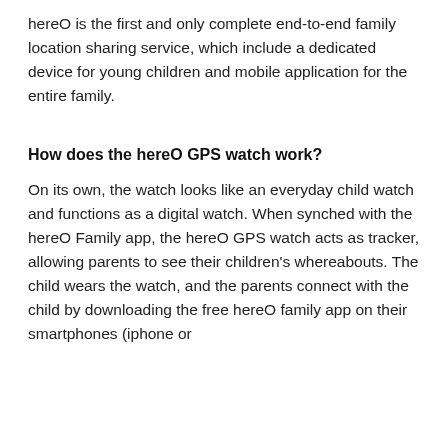hereO is the first and only complete end-to-end family location sharing service, which include a dedicated device for young children and mobile application for the entire family.
How does the hereO GPS watch work?
On its own, the watch looks like an everyday child watch and functions as a digital watch. When synched with the hereO Family app, the hereO GPS watch acts as tracker, allowing parents to see their children's whereabouts. The child wears the watch, and the parents connect with the child by downloading the free hereO family app on their smartphones (iphone or